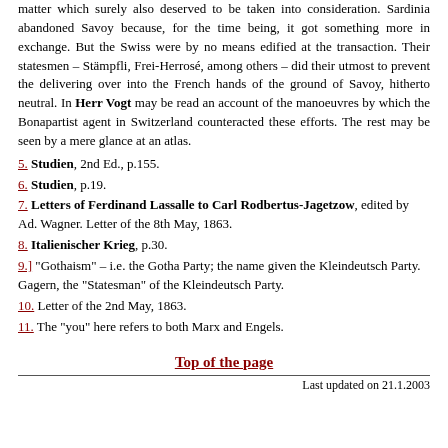matter which surely also deserved to be taken into consideration. Sardinia abandoned Savoy because, for the time being, it got something more in exchange. But the Swiss were by no means edified at the transaction. Their statesmen – Stämpfli, Frei-Herrosé, among others – did their utmost to prevent the delivering over into the French hands of the ground of Savoy, hitherto neutral. In Herr Vogt may be read an account of the manoeuvres by which the Bonapartist agent in Switzerland counteracted these efforts. The rest may be seen by a mere glance at an atlas.
5. Studien, 2nd Ed., p.155.
6. Studien, p.19.
7. Letters of Ferdinand Lassalle to Carl Rodbertus-Jagetzow, edited by Ad. Wagner. Letter of the 8th May, 1863.
8. Italienischer Krieg, p.30.
9.] "Gothaism" – i.e. the Gotha Party; the name given the Kleindeutsch Party. Gagern, the "Statesman" of the Kleindeutsch Party.
10. Letter of the 2nd May, 1863.
11. The "you" here refers to both Marx and Engels.
Top of the page
Last updated on 21.1.2003